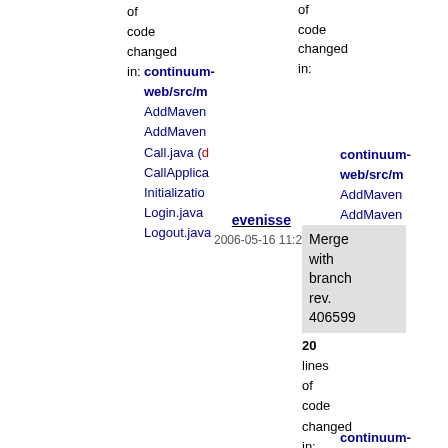of
code
changed
in:
continuum-web/src/m
AddMaven
AddMaven
Call.java (d
CallApplica
Initializatio
Login.java
Logout.java
evenisse
2006-05-16 11:26
Merge with branch rev. 406599
20
lines
of
code
changed
in:
continuum-web/src/m
Initializatio